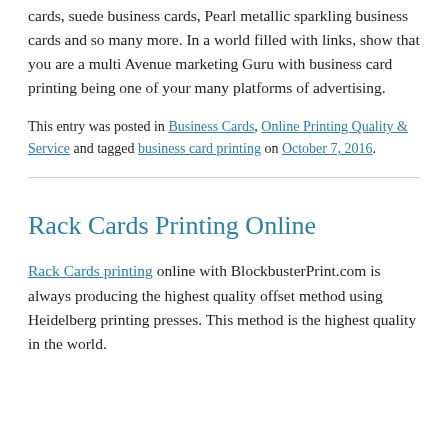cards, suede business cards, Pearl metallic sparkling business cards and so many more. In a world filled with links, show that you are a multi Avenue marketing Guru with business card printing being one of your many platforms of advertising.
This entry was posted in Business Cards, Online Printing Quality & Service and tagged business card printing on October 7, 2016.
Rack Cards Printing Online
Rack Cards printing online with BlockbusterPrint.com is always producing the highest quality offset method using Heidelberg printing presses. This method is the highest quality in the world.